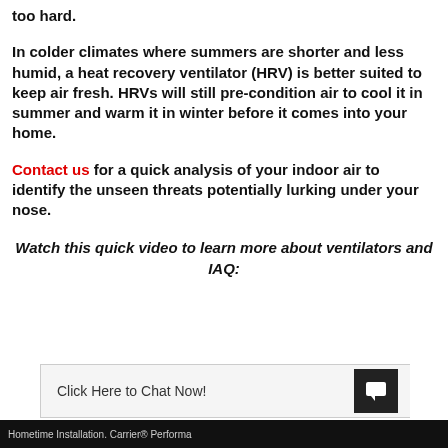too hard.
In colder climates where summers are shorter and less humid, a heat recovery ventilator (HRV) is better suited to keep air fresh. HRVs will still pre-condition air to cool it in summer and warm it in winter before it comes into your home.
Contact us for a quick analysis of your indoor air to identify the unseen threats potentially lurking under your nose.
Watch this quick video to learn more about ventilators and IAQ:
Click Here to Chat Now!
Hometime Installation. Carrier® Performa